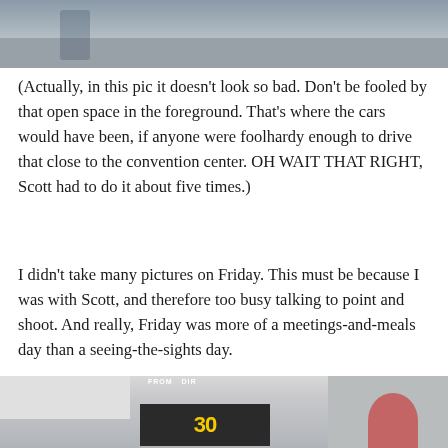[Figure (photo): Outdoor street scene near a convention center, people walking, partial view cropped at top]
(Actually, in this pic it doesn't look so bad. Don't be fooled by that open space in the foreground. That's where the cars would have been, if anyone were foolhardy enough to drive that close to the convention center. OH WAIT THAT RIGHT, Scott had to do it about five times.)
I didn't take many pictures on Friday. This must be because I was with Scott, and therefore too busy talking to point and shoot. And really, Friday was more of a meetings-and-meals day than a seeing-the-sights day.
[Figure (photo): Street scene with a large sign showing '30' in yellow text on a dark background, person visible at right edge]